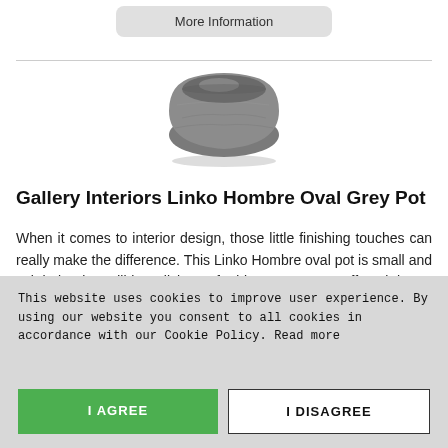More Information
[Figure (photo): A small oval grey stone-effect pot (the Gallery Interiors Linko Hombre Oval Grey Pot), viewed from slightly above, showing its bowl-like shape with a matte grey textured surface.]
Gallery Interiors Linko Hombre Oval Grey Pot
When it comes to interior design, those little finishing touches can really make the difference. This Linko Hombre oval pot is small and subtle but incredibly stylish. Crafted in a grey stone effect, it has a rustic charm and Mediterranean vibe that would...
This website uses cookies to improve user experience. By using our website you consent to all cookies in accordance with our Cookie Policy. Read more
I AGREE
I DISAGREE